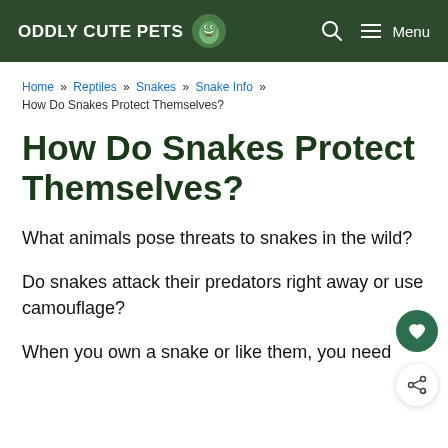ODDLY CUTE PETS
Home » Reptiles » Snakes » Snake Info » How Do Snakes Protect Themselves?
How Do Snakes Protect Themselves?
What animals pose threats to snakes in the wild?
Do snakes attack their predators right away or use camouflage?
When you own a snake or like them, you need